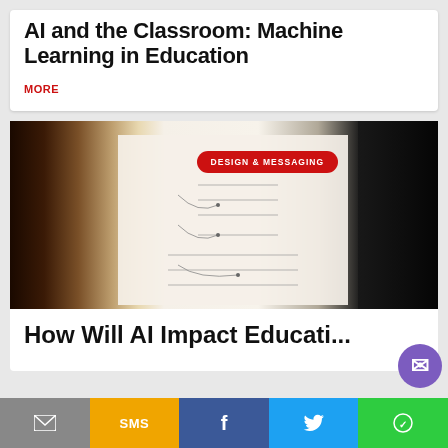AI and the Classroom: Machine Learning in Education
MORE
[Figure (photo): Photo of a tablet or screen showing a mind-map or diagram on paper/whiteboard, with dark surroundings. A red badge reading 'DESIGN & MESSAGING' overlays the image.]
How Will AI Impact Education